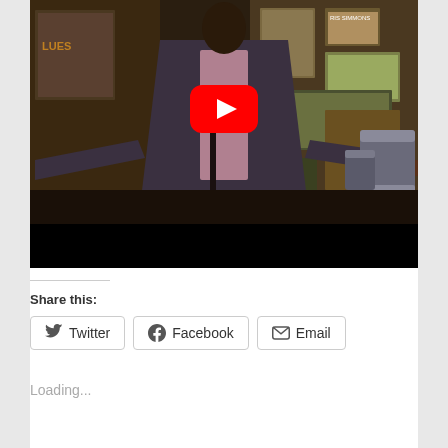[Figure (screenshot): YouTube video embed showing a man in a suit standing in a music venue/bar with posters on the wall and drums in the background. A red YouTube play button overlay is centered on the image. A black letterbox bar appears at the bottom.]
Share this:
Twitter   Facebook   Email
Loading...